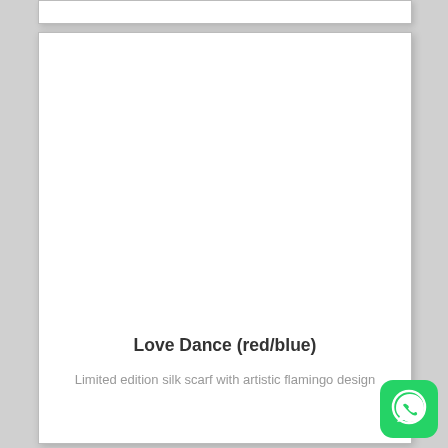[Figure (other): White card with product image area (blank/empty) at top of page]
Love Dance (red/blue)
Limited edition silk scarf with artistic flamingo design
[Figure (logo): WhatsApp icon button — green rounded square with white phone/chat bubble icon]